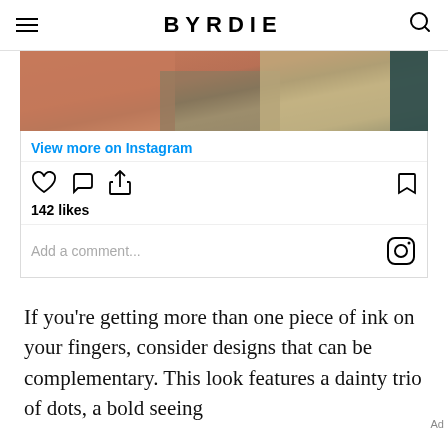BYRDIE
[Figure (photo): Close-up photo of fingers/hand near textured stones with dark teal background — Instagram embed image]
View more on Instagram
142 likes
Add a comment...
If you’re getting more than one piece of ink on your fingers, consider designs that can be complementary. This look features a dainty trio of dots, a bold seeing
Ad